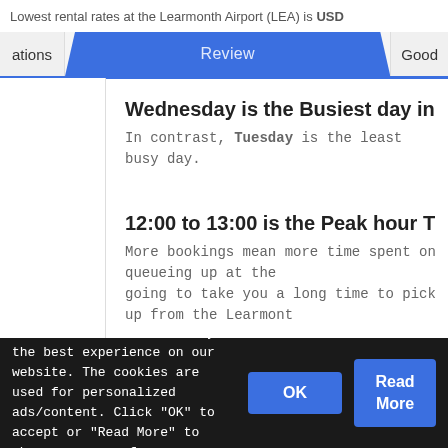Lowest rental rates at the Learmonth Airport (LEA) is USD
ations   Review   Good
Wednesday is the Busiest day in a Week at Learmon
In contrast, Tuesday is the least busy day.
12:00 to 13:00 is the Peak hour Throughout a Day at
More bookings mean more time spent on queueing up at the going to take you a long time to pick up from the Learmont
We use cookies to ensure you the best experience on our website. The cookies are used for personalized ads/content. Click "OK" to accept or "Read More" to change your preferences.